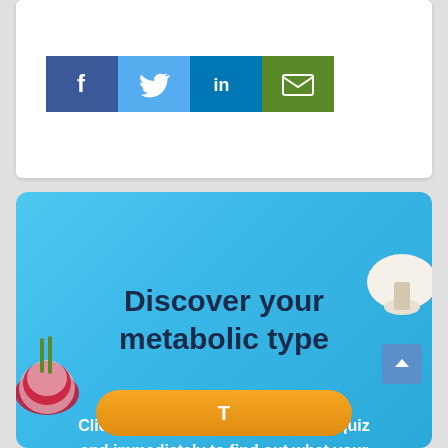[Figure (other): Social sharing buttons: Facebook (dark blue), Twitter (light blue), LinkedIn (medium blue), Email (green)]
Discover your metabolic type
Click the button below to take the quiz and immediately to find out what your metabolic type is.
[Figure (other): Orange rounded button partially visible at the bottom of the cyan card, with food images (onion, mushroom/coffee) decorating the sides]